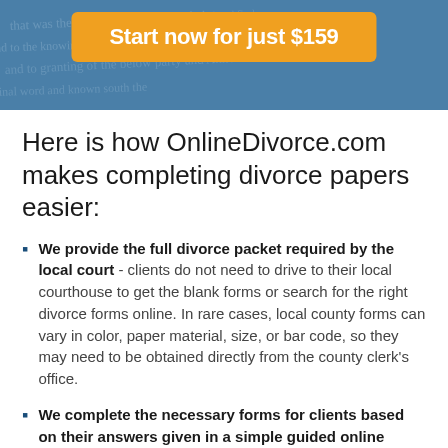[Figure (other): Blue header banner with decorative handwritten text background and an orange 'Start now for just $159' button]
Here is how OnlineDivorce.com makes completing divorce papers easier:
We provide the full divorce packet required by the local court - clients do not need to drive to their local courthouse to get the blank forms or search for the right divorce forms online. In rare cases, local county forms can vary in color, paper material, size, or bar code, so they may need to be obtained directly from the county clerk's office.
We complete the necessary forms for clients based on their answers given in a simple guided online interview - clients do not need to understand family law or read through complicated instructions to figure out how to fill out the forms themselves.